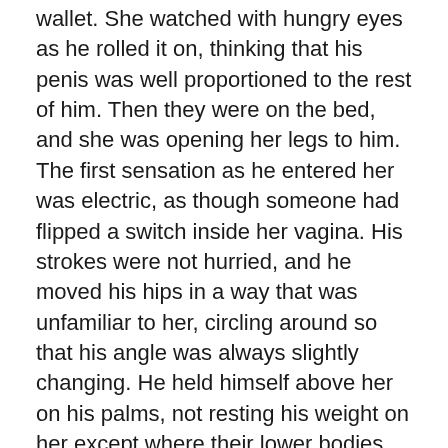wallet. She watched with hungry eyes as he rolled it on, thinking that his penis was well proportioned to the rest of him. Then they were on the bed, and she was opening her legs to him. The first sensation as he entered her was electric, as though someone had flipped a switch inside her vagina. His strokes were not hurried, and he moved his hips in a way that was unfamiliar to her, circling around so that his angle was always slightly changing. He held himself above her on his palms, not resting his weight on her except where their lower bodies met, and he looked into her eyes, watching her reaction. She tried to meet his gaze, then finally closed her eyes and turned her head, crying out softly. She wanted it to go on forever, but within a few minutes he grimaced and made a low, open-mouthed sound, and then another. She clasped him from the inside as he came, wringing every last ounce of pleasure from him. He rested his weight on her then